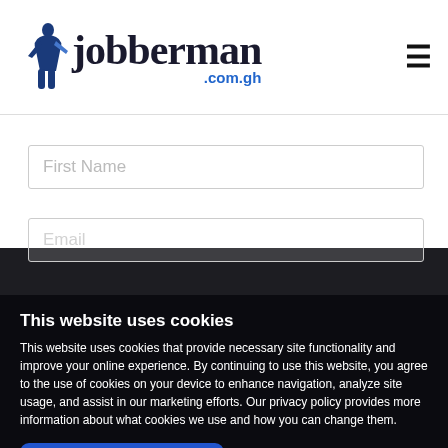[Figure (logo): Jobberman.com.gh logo with human figure icon on the left, black text 'jobberman' and blue '.com.gh' text below]
First Name
Email
This website uses cookies
This website uses cookies that provide necessary site functionality and improve your online experience. By continuing to use this website, you agree to the use of cookies on your device to enhance navigation, analyze site usage, and assist in our marketing efforts. Our privacy policy provides more information about what cookies we use and how you can change them.
Accept and Close
Learn More